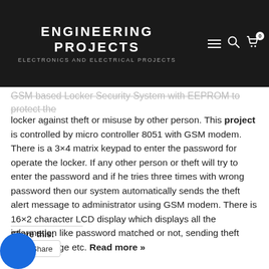ENGINEERING PROJECTS
ELECTRONICS AND ELECTRICAL PROJECTS
GSM based Locker Security System with EEPROM to protect the locker against theft or misuse by other person. This project is controlled by micro controller 8051 with GSM modem. There is a 3×4 matrix keypad to enter the password for operate the locker. If any other person or theft will try to enter the password and if he tries three times with wrong password then our system automatically sends the theft alert message to administrator using GSM modem. There is 16×2 character LCD display which displays all the information like password matched or not, sending theft alert message etc. Read more »
Share this:
Share